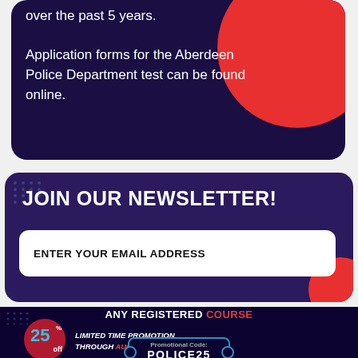over the past 5 years.

Application forms for the Aberdeen Police Department test can be found online.
JOIN OUR NEWSLETTER!
ENTER YOUR EMAIL ADDRESS
ANY REGISTERED COURSE
25% off LIMITED TIME PROMOTION THROUGH AUG 26 – SEP 2
Promotional Code: POLICE25